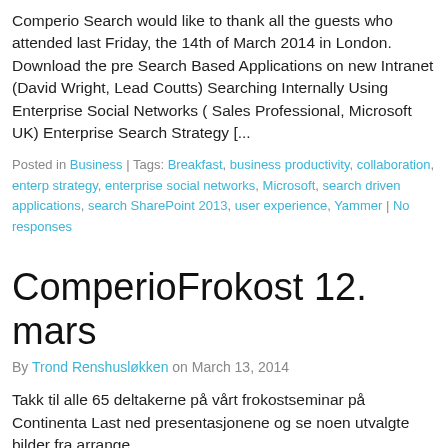Comperio Search would like to thank all the guests who attended last Friday, the 14th of March 2014 in London. Download the pre Search Based Applications on new Intranet (David Wright, Lead Coutts) Searching Internally Using Enterprise Social Networks ( Sales Professional, Microsoft UK) Enterprise Search Strategy [...
Posted in Business | Tags: Breakfast, business productivity, collaboration, enterp strategy, enterprise social networks, Microsoft, search driven applications, searc SharePoint 2013, user experience, Yammer | No responses
ComperioFrokost 12. mars
By Trond Renshusløkken on March 13, 2014
Takk til alle 65 deltakerne på vårt frokostseminar på Continenta Last ned presentasjonene og se noen utvalgte bilder fra arrange
Posted in Business | Tags: Breakfast, ComperioFrokost, Continental, Elasticsearch Frokostseminar, google, Seminar, user experience | No responses